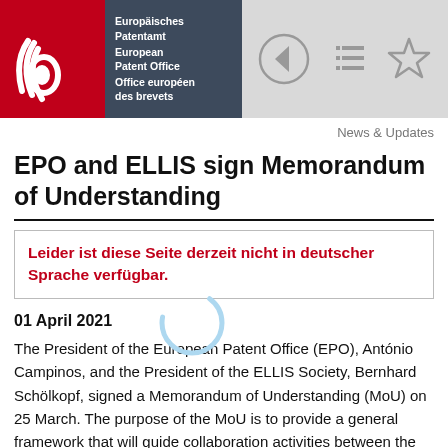Europäisches Patentamt | European Patent Office | Office européen des brevets
News & Updates
EPO and ELLIS sign Memorandum of Understanding
Leider ist diese Seite derzeit nicht in deutscher Sprache verfügbar.
01 April 2021
The President of the European Patent Office (EPO), António Campinos, and the President of the ELLIS Society, Bernhard Schölkopf, signed a Memorandum of Understanding (MoU) on 25 March. The purpose of the MoU is to provide a general framework that will guide collaboration activities between the